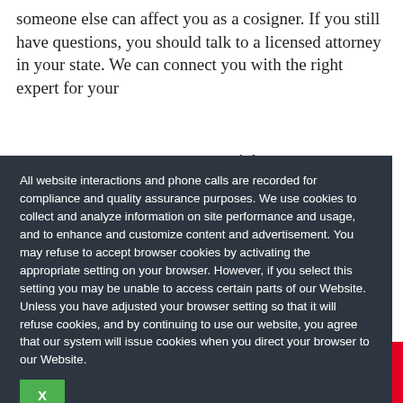someone else can affect you as a cosigner. If you still have questions, you should talk to a licensed attorney in your state. We can connect you with the right expert for your
right to get
balance
s discharged ugh the court, outstanding is is if the nce in full.
ankruptcy, you e they handle e not left to pay
[Figure (other): Cookie consent overlay popup with dark background. Text reads: 'All website interactions and phone calls are recorded for compliance and quality assurance purposes. We use cookies to collect and analyze information on site performance and usage, and to enhance and customize content and advertisement. You may refuse to accept browser cookies by activating the appropriate setting on your browser. However, if you select this setting you may be unable to access certain parts of our Website. Unless you have adjusted your browser setting so that it will refuse cookies, and by continuing to use our website, you agree that our system will issue cookies when you direct your browser to our Website.' With a green X close button.]
Facebook 43 | Twitter | LinkedIn in | Pinterest 2